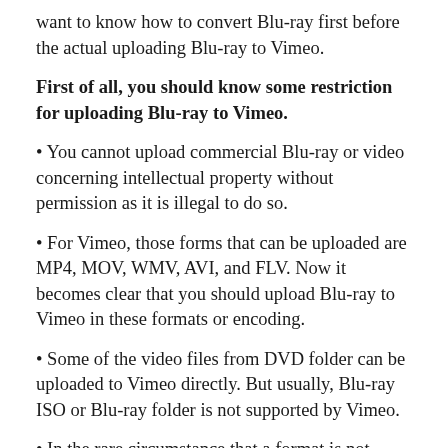want to know how to convert Blu-ray first before the actual uploading Blu-ray to Vimeo.
First of all, you should know some restriction for uploading Blu-ray to Vimeo.
• You cannot upload commercial Blu-ray or video concerning intellectual property without permission as it is illegal to do so.
• For Vimeo, those forms that can be uploaded are MP4, MOV, WMV, AVI, and FLV. Now it becomes clear that you should upload Blu-ray to Vimeo in these formats or encoding.
• Some of the video files from DVD folder can be uploaded to Vimeo directly. But usually, Blu-ray ISO or Blu-ray folder is not supported by Vimeo.
• In the rare circumstance that a format is not